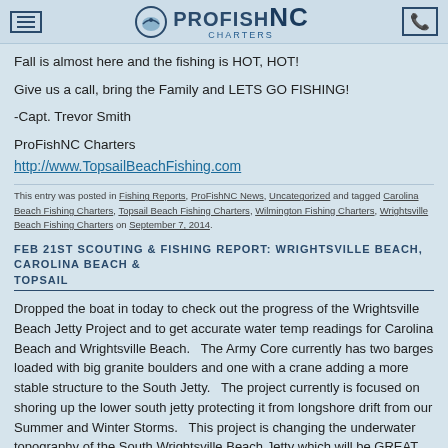PROFISH NC CHARTERS
Fall is almost here and the fishing is HOT, HOT!
Give us a call, bring the Family and LETS GO FISHING!
-Capt. Trevor Smith
ProFishNC Charters
http://www.TopsailBeachFishing.com
This entry was posted in Fishing Reports, ProFishNC News, Uncategorized and tagged Carolina Beach Fishing Charters, Topsail Beach Fishing Charters, Wilmington Fishing Charters, Wrightsville Beach Fishing Charters on September 7, 2014.
FEB 21ST SCOUTING & FISHING REPORT: WRIGHTSVILLE BEACH, CAROLINA BEACH & TOPSAIL
Dropped the boat in today to check out the progress of the Wrightsville Beach Jetty Project and to get accurate water temp readings for Carolina Beach and Wrightsville Beach.   The Army Core currently has two barges loaded with big granite boulders and one with a crane adding a more stable structure to the South Jetty.   The project currently is focused on shoring up the lower south jetty protecting it from longshore drift from our Summer and Winter Storms.   This project is changing the underwater topography of the South Wrightsville Beach Jetty which will be GREAT for Fishing (More Structure = More Fish!).